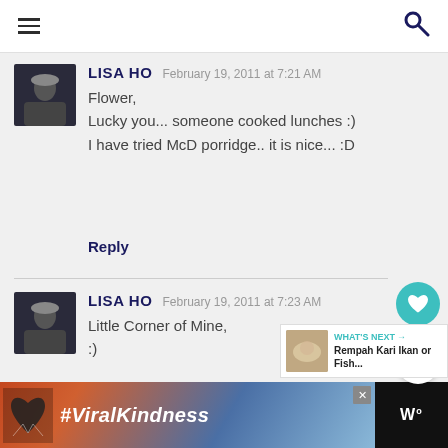LISA HO  February 19, 2011 at 7:21 AM
Flower,
Lucky you... someone cooked lunches :)
I have tried McD porridge.. it is nice... :D
Reply
LISA HO  February 19, 2011 at 7:23 AM
Little Corner of Mine,
:)
WHAT'S NEXT → Rempah Kari Ikan or Fish...
#ViralKindness